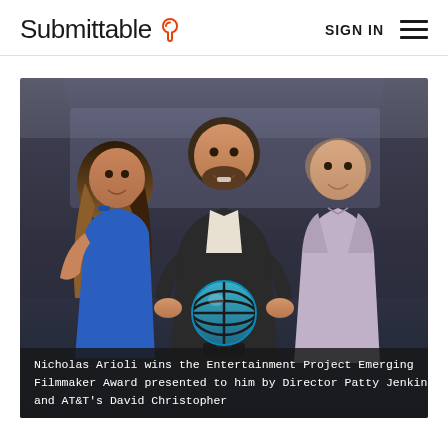Submittable  SIGN IN
[Figure (photo): Three people standing together on a stage. A woman in a blue dress on the left, a man in a dark suit holding a blue AT&T globe award trophy in the center, and a man in a light purple shirt on the right.]
Nicholas Arioli wins the Entertainment Project Emerging Filmmaker Award presented to him by Director Patty Jenkins and AT&T's David Christopher